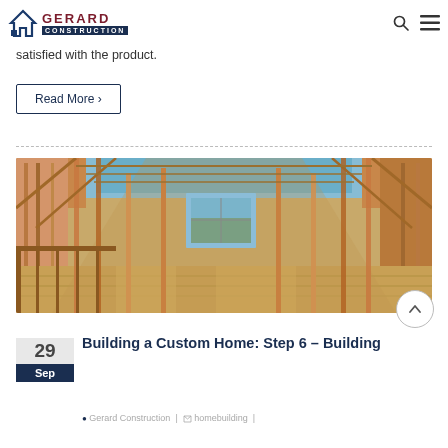GERARD CONSTRUCTION
satisfied with the product.
Read More >
[Figure (photo): Interior of a house under construction showing wooden framing, studs, roof trusses, subfloor, and a window opening with trees visible outside]
Building a Custom Home: Step 6 – Building
29 Sep
Gerard Construction | homebuilding |